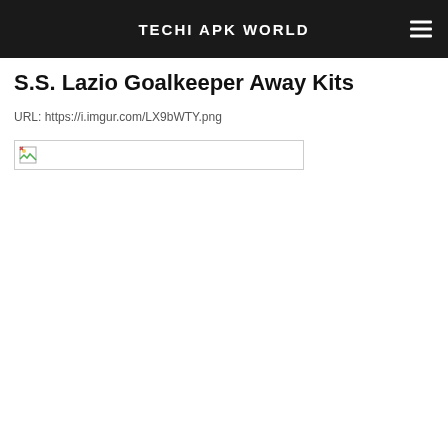TECHI APK WORLD
S.S. Lazio Goalkeeper Away Kits
URL: https://i.imgur.com/LX9bWTY.png
[Figure (photo): Broken image placeholder box for S.S. Lazio Goalkeeper Away Kits image from https://i.imgur.com/LX9bWTY.png]